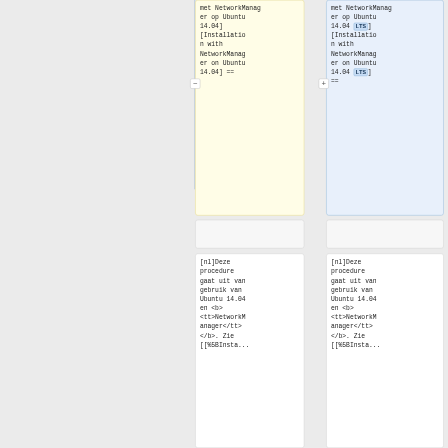met NetworkManager op Ubuntu 14.04] [Installation with NetworkManager on Ubuntu 14.04] ==
met NetworkManager op Ubuntu 14.04 LTS] [Installation with NetworkManager on Ubuntu 14.04 LTS] ==
[nl]Deze procedure gaat uit van gebruik van Ubuntu 14.04 en <b><tt>NetworkManager</tt></b>. Zie [[%5BInsta...
[nl]Deze procedure gaat uit van gebruik van Ubuntu 14.04 en <b><tt>NetworkManager</tt></b>. Zie [[%5BInsta...